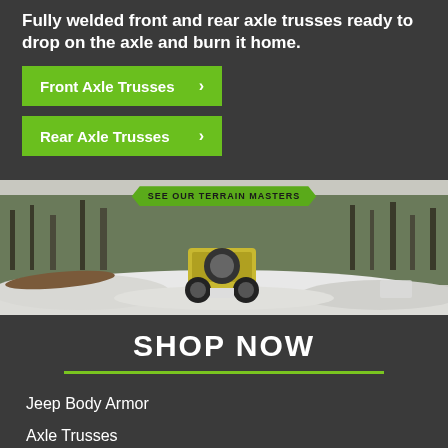Fully welded front and rear axle trusses ready to drop on the axle and burn it home.
Front Axle Trusses
Rear Axle Trusses
[Figure (photo): Jeep 4x4 vehicle driving on a snowy off-road trail through a winter forest. Banner reads SEE OUR TERRAIN MASTERS.]
SHOP NOW
Jeep Body Armor
Axle Trusses
Jeep Axle Parts
Brackets & Mounts
Jeep Bumpers